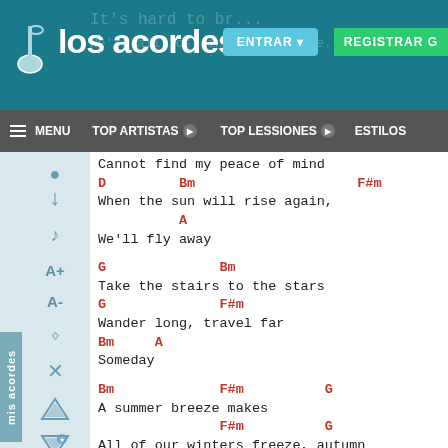los acordes — ENTRAR | REGISTRAR G
MENU | TOP ARTISTAS | TOP LESSIONES | ESTILOS
Cannot find my peace of mind
D         Bm                    F#m
When the sun will rise again,
          A
We'll fly away

G              Bm
Take the stairs to the stars
G              F#m
Wander long, travel far
Bm     A
Someday

Bm             F#m          G
A summer breeze makes
               F#m          G
All of our winters freeze, autumn